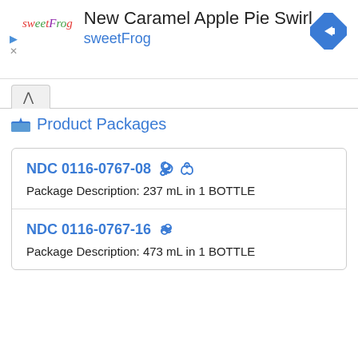[Figure (logo): sweetFrog logo with colorful letters and navigation arrow diamond icon, ad banner for New Caramel Apple Pie Swirl]
New Caramel Apple Pie Swirl
sweetFrog
Product Packages
NDC 0116-0767-08
Package Description: 237 mL in 1 BOTTLE
NDC 0116-0767-16
Package Description: 473 mL in 1 BOTTLE